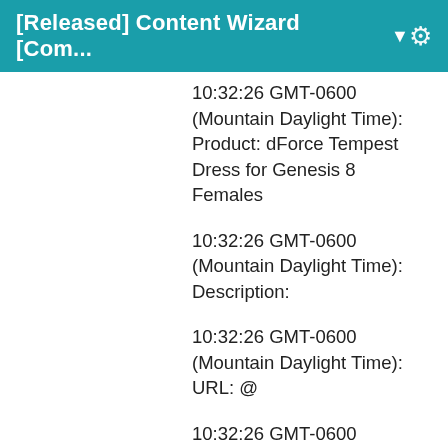[Released] Content Wizard [Com... ▼
10:32:26 GMT-0600 (Mountain Daylight Time): Product: dForce Tempest Dress for Genesis 8 Females
10:32:26 GMT-0600 (Mountain Daylight Time): Description:
10:32:26 GMT-0600 (Mountain Daylight Time): URL: @
10:32:26 GMT-0600 (Mountain Daylight Time): Artists:
10:32:26 GMT-0600 (Mountain Daylight Time): Store: Renderosity
10:32:26 GMT-0600 (Mountain Daylight Time): Vendor: false